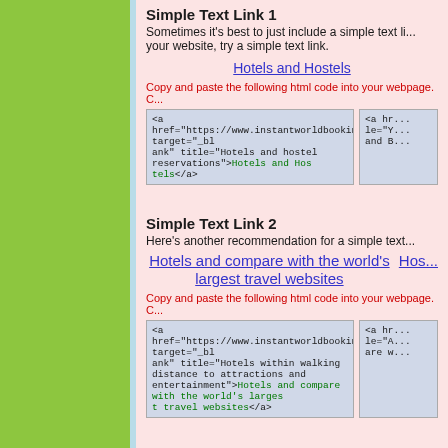Simple Text Link 1
Sometimes it's best to just include a simple text li... your website, try a simple text link.
Hotels and Hostels (link)
Copy and paste the following html code into your webpage. C...
<a href="https://www.instantworldbooking.com" target="_blank" title="Hotels and hostel reservations">Hotels and Hostels</a>
Simple Text Link 2
Here's another recommendation for a simple text...
Hotels and compare with the world's largest travel websites (link)
Copy and paste the following html code into your webpage. C...
<a href="https://www.instantworldbooking.com" target="_blank" title="Hotels within walking distance to attractions and entertainment">Hotels and compare with the world's largest travel websites</a>
Book Now links
Encourage visitors to make a reservation now wit...
[Figure (illustration): Book Now banner image with colorful text]